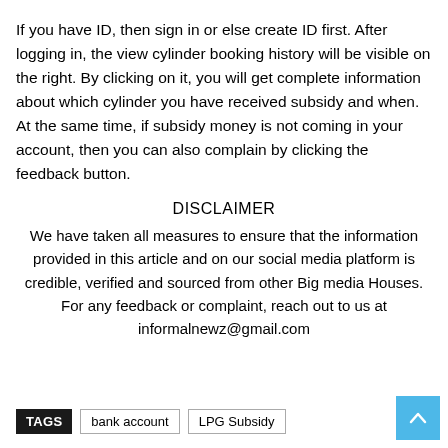If you have ID, then sign in or else create ID first. After logging in, the view cylinder booking history will be visible on the right. By clicking on it, you will get complete information about which cylinder you have received subsidy and when. At the same time, if subsidy money is not coming in your account, then you can also complain by clicking the feedback button.
DISCLAIMER
We have taken all measures to ensure that the information provided in this article and on our social media platform is credible, verified and sourced from other Big media Houses. For any feedback or complaint, reach out to us at informalnewz@gmail.com
TAGS  bank account  LPG Subsidy